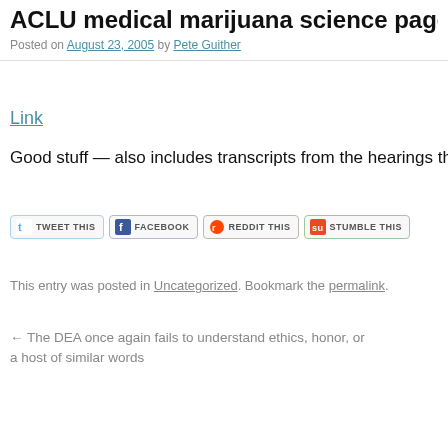ACLU medical marijuana science page
Posted on August 23, 2005 by Pete Guither
Link
Good stuff — also includes transcripts from the hearings this w
[Figure (screenshot): Social sharing buttons: Tweet This, Facebook, Reddit This, Stumble This]
This entry was posted in Uncategorized. Bookmark the permalink.
← The DEA once again fails to understand ethics, honor, or a host of similar words